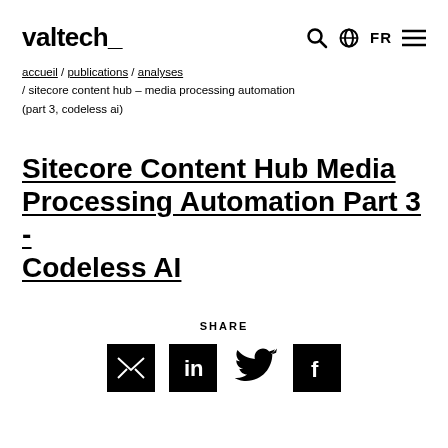valtech_
accueil / publications / analyses / sitecore content hub – media processing automation (part 3, codeless ai)
Sitecore Content Hub Media Processing Automation Part 3 - Codeless AI
SHARE